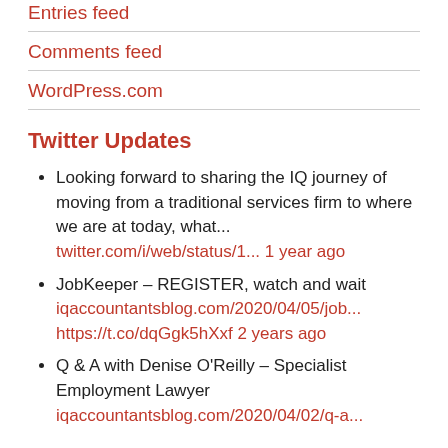Entries feed
Comments feed
WordPress.com
Twitter Updates
Looking forward to sharing the IQ journey of moving from a traditional services firm to where we are at today, what... twitter.com/i/web/status/1... 1 year ago
JobKeeper – REGISTER, watch and wait iqaccountantsblog.com/2020/04/05/job... https://t.co/dqGgk5hXxf 2 years ago
Q & A with Denise O'Reilly – Specialist Employment Lawyer iqaccountantsblog.com/2020/04/02/q-a...